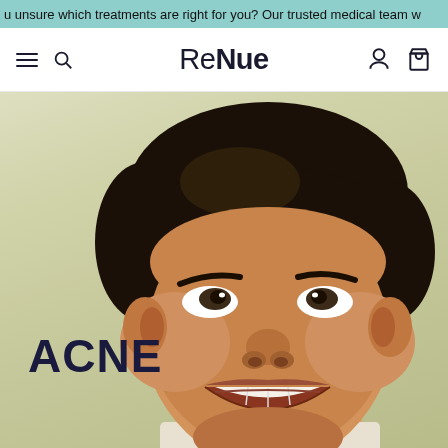u unsure which treatments are right for you? Our trusted medical team w
ReNue
[Figure (photo): Smiling young man looking upward, photographed against a light beige/cream background. The hero image for the Acne treatment section of the ReNue website.]
ACNE